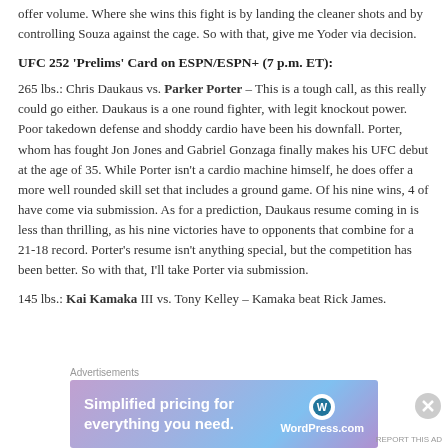offer volume. Where she wins this fight is by landing the cleaner shots and by controlling Souza against the cage. So with that, give me Yoder via decision.
UFC 252 'Prelims' Card on ESPN/ESPN+ (7 p.m. ET):
265 lbs.: Chris Daukaus vs. Parker Porter – This is a tough call, as this really could go either. Daukaus is a one round fighter, with legit knockout power. Poor takedown defense and shoddy cardio have been his downfall. Porter, whom has fought Jon Jones and Gabriel Gonzaga finally makes his UFC debut at the age of 35. While Porter isn't a cardio machine himself, he does offer a more well rounded skill set that includes a ground game. Of his nine wins, 4 of have come via submission. As for a prediction, Daukaus resume coming in is less than thrilling, as his nine victories have to opponents that combine for a 21-18 record. Porter's resume isn't anything special, but the competition has been better. So with that, I'll take Porter via submission.
145 lbs.: Kai Kamaka III vs. Tony Kelley – Kamaka beat Rick James.
Advertisements
[Figure (other): WordPress.com advertisement banner: 'Simplified pricing for everything you need.' with WordPress.com logo]